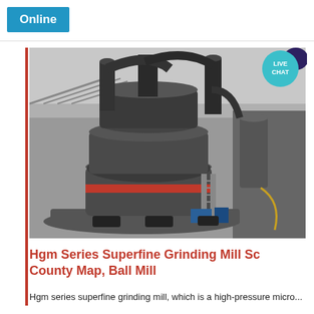Online
[Figure (photo): Industrial HGM series superfine grinding mill machine installed outdoors, showing large cylindrical grinding body with red stripe, multiple vertical pipes/cyclones, and support structures in an industrial facility setting.]
Hgm Series Superfine Grinding Mill Sc County Map, Ball Mill
Hgm series superfine grinding mill, which is a high-pressure micro...